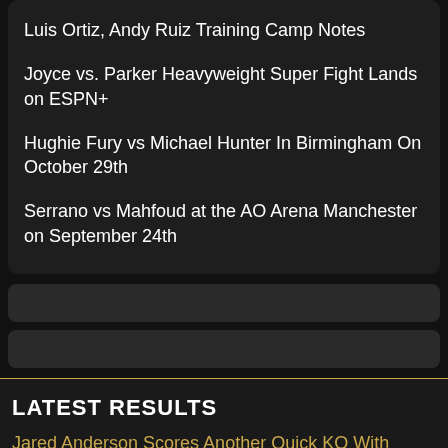Luis Ortiz, Andy Ruiz Training Camp Notes
Joyce vs. Parker Heavyweight Super Fight Lands on ESPN+
Hughie Fury vs Michael Hunter In Birmingham On October 29th
Serrano vs Mahfoud at the AO Arena Manchester on September 24th
LATEST RESULTS
Jared Anderson Scores Another Quick KO With